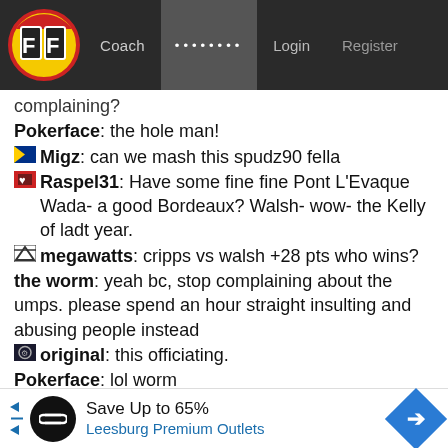FF Coach ........ Login Register
complaining?
Pokerface: the hole man!
Migz: can we mash this spudz90 fella
Raspel31: Have some fine fine Pont L'Evaque Wada- a good Bordeaux? Walsh- wow- the Kelly of ladt year.
megawatts: cripps vs walsh +28 pts who wins?
the worm: yeah bc, stop complaining about the umps. please spend an hour straight insulting and abusing people instead
original: this officiating.
Pokerface: lol worm
Burnsy03: He questioned it, dont complain about the smallest things
[Figure (infographic): Advertisement banner: Save Up to 65% Leesburg Premium Outlets with a circular logo and blue diamond arrow icon]